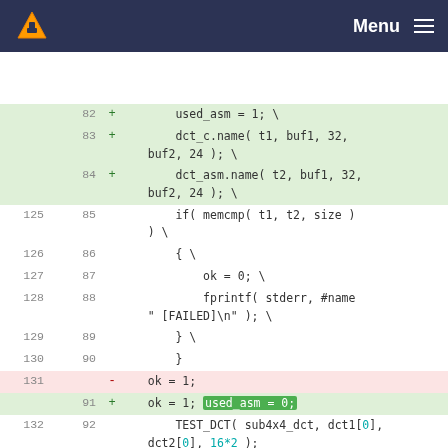VLC Menu
[Figure (screenshot): Code diff view showing lines 82-94 (old) and 83-94 (new) of a C source file. Added lines shown in green, removed lines in pink. Lines show DCT test macro usage with memcmp, fprintf, ok=1 assignments and TEST_DCT calls.]